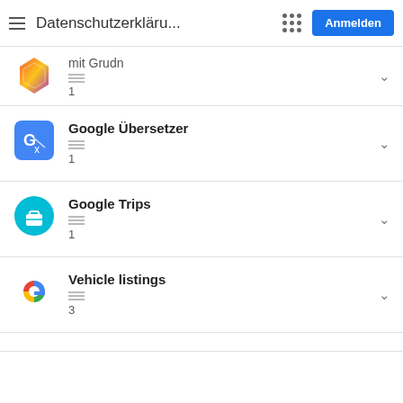Datenschutzerklärung... Anmelden
mit Grudn
1
Google Übersetzer
1
Google Trips
1
Vehicle listings
3